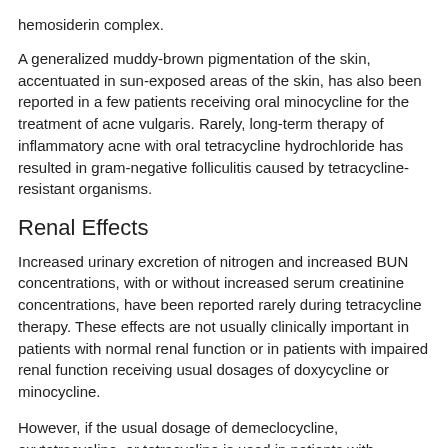hemosiderin complex.
A generalized muddy-brown pigmentation of the skin, accentuated in sun-exposed areas of the skin, has also been reported in a few patients receiving oral minocycline for the treatment of acne vulgaris. Rarely, long-term therapy of inflammatory acne with oral tetracycline hydrochloride has resulted in gram-negative folliculitis caused by tetracycline-resistant organisms.
Renal Effects
Increased urinary excretion of nitrogen and increased BUN concentrations, with or without increased serum creatinine concentrations, have been reported rarely during tetracycline therapy. These effects are not usually clinically important in patients with normal renal function or in patients with impaired renal function receiving usual dosages of doxycycline or minocycline.
However, if the usual dosage of demeclocycline, oxytetracycline, or tetracycline is used in patients with impaired renal function, progressive azotemia, hyperphosphatemia, and acidosis may occur. Administration of tetracycline in patients receiving doxycycline or